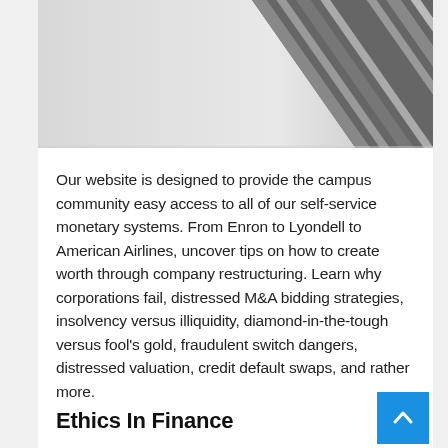[Figure (photo): Black and white photo of a tall building facade with diagonal lines/stripes, viewed from below at an angle against a light gray sky. Only the upper-right portion of the building is visible.]
Our website is designed to provide the campus community easy access to all of our self-service monetary systems. From Enron to Lyondell to American Airlines, uncover tips on how to create worth through company restructuring. Learn why corporations fail, distressed M&A bidding strategies, insolvency versus illiquidity, diamond-in-the-tough versus fool's gold, fraudulent switch dangers, distressed valuation, credit default swaps, and rather more.
Ethics In Finance